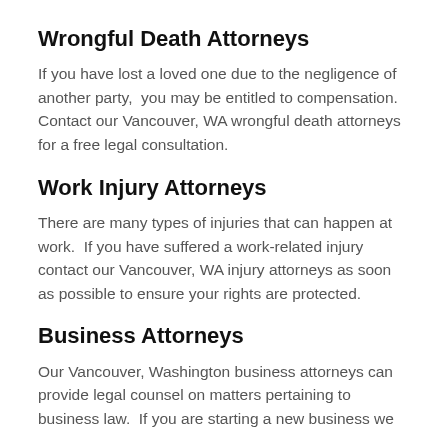Wrongful Death Attorneys
If you have lost a loved one due to the negligence of another party,  you may be entitled to compensation. Contact our Vancouver, WA wrongful death attorneys for a free legal consultation.
Work Injury Attorneys
There are many types of injuries that can happen at work.  If you have suffered a work-related injury contact our Vancouver, WA injury attorneys as soon as possible to ensure your rights are protected.
Business Attorneys
Our Vancouver, Washington business attorneys can provide legal counsel on matters pertaining to business law.  If you are starting a new business we